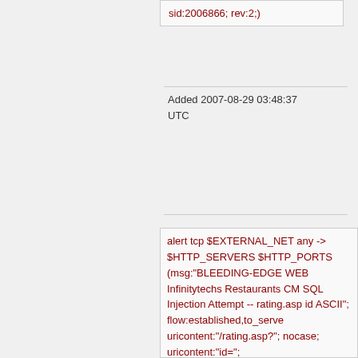sid:2006866; rev:2;)
Added 2007-08-29 03:48:37 UTC
alert tcp $EXTERNAL_NET any -> $HTTP_SERVERS $HTTP_PORTS (msg:"BLEEDING-EDGE WEB Infinitytechs Restaurants CM SQL Injection Attempt -- rating.asp id ASCII"; flow:established,to_serve uricontent:"/rating.asp?"; nocase; uricontent:"id=";